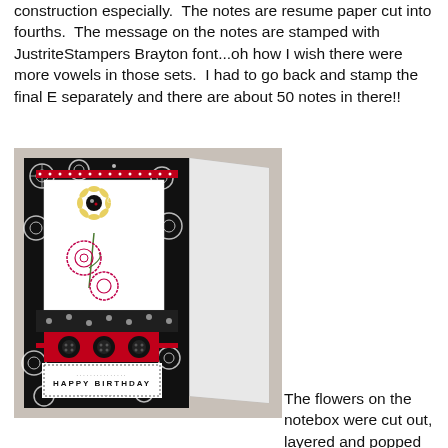construction especially.  The notes are resume paper cut into fourths.  The message on the notes are stamped with JustriteStampers Brayton font...oh how I wish there were more vowels in those sets.  I had to go back and stamp the final E separately and there are about 50 notes in there!!
[Figure (photo): A handmade birthday card open and standing up, decorated with black and white patterned paper, red accents, flower stamps, polka dot ribbon, black buttons, and a 'HAPPY BIRTHDAY' label at the bottom. Watermark reads 'Charlene Driggs'.]
The flowers on the notebox were cut out, layered and popped up on dimensionals.  I